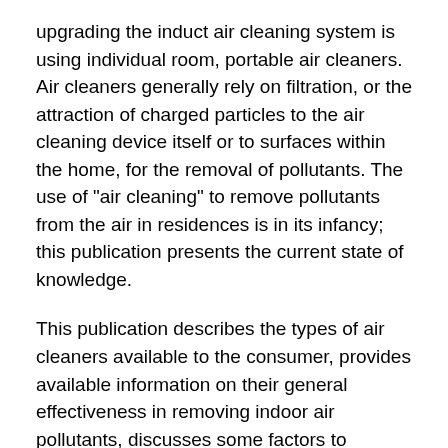upgrading the induct air cleaning system is using individual room, portable air cleaners. Air cleaners generally rely on filtration, or the attraction of charged particles to the air cleaning device itself or to surfaces within the home, for the removal of pollutants. The use of "air cleaning" to remove pollutants from the air in residences is in its infancy; this publication presents the current state of knowledge.
This publication describes the types of air cleaners available to the consumer, provides available information on their general effectiveness in removing indoor air pollutants, discusses some factors to consider in deciding whether to use an air-cleaning unit and describes existing guidelines that can be used to compare units. It does not discuss the effectiveness of air-cleaning systems installed in the central heating, ventilating, and air-conditioning (HVAC) systems of large buildings, such as apartment, office, or public buildings, nor does it evaluate specific